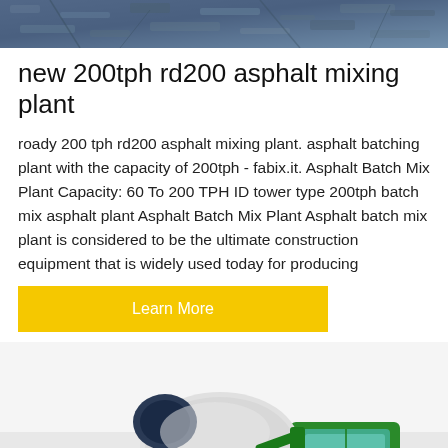[Figure (photo): Top banner image of asphalt/gravel surface in dark blue-grey tones]
new 200tph rd200 asphalt mixing plant
roady 200 tph rd200 asphalt mixing plant. asphalt batching plant with the capacity of 200tph - fabix.it. Asphalt Batch Mix Plant Capacity: 60 To 200 TPH ID tower type 200tph batch mix asphalt plant Asphalt Batch Mix Plant Asphalt batch mix plant is considered to be the ultimate construction equipment that is widely used today for producing
Learn More
[Figure (photo): Green and white cement mixer truck / self-loading concrete mixer machine on light grey background, with a scroll-to-top button in bottom right corner]